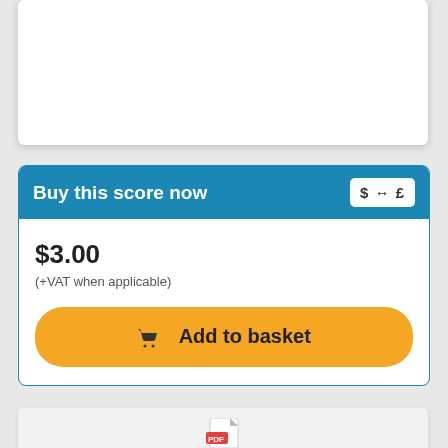Buy this score now
$3.00
(+VAT when applicable)
Add to basket
[Figure (other): PDF document icon partially visible at bottom of page]